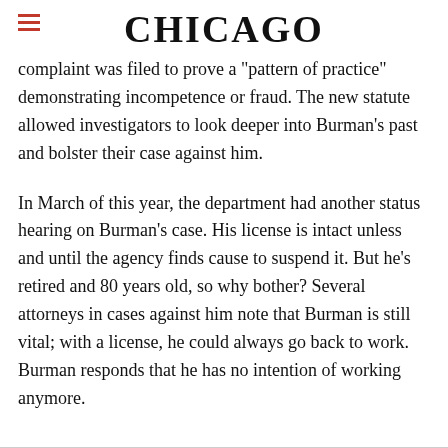CHICAGO
complaint was filed to prove a "pattern of practice" demonstrating incompetence or fraud. The new statute allowed investigators to look deeper into Burman's past and bolster their case against him.
In March of this year, the department had another status hearing on Burman's case. His license is intact unless and until the agency finds cause to suspend it. But he's retired and 80 years old, so why bother? Several attorneys in cases against him note that Burman is still vital; with a license, he could always go back to work. Burman responds that he has no intention of working anymore.